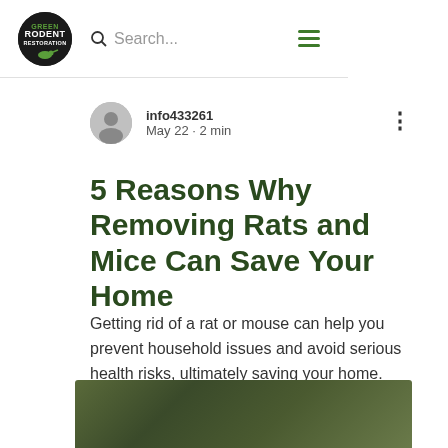GREEN RODENT RESTORATION — Search... (nav bar with logo)
info433261
May 22 · 2 min
5 Reasons Why Removing Rats and Mice Can Save Your Home
Getting rid of a rat or mouse can help you prevent household issues and avoid serious health risks, ultimately saving your home.
[Figure (photo): Blurred outdoor/nature photo at bottom of page]